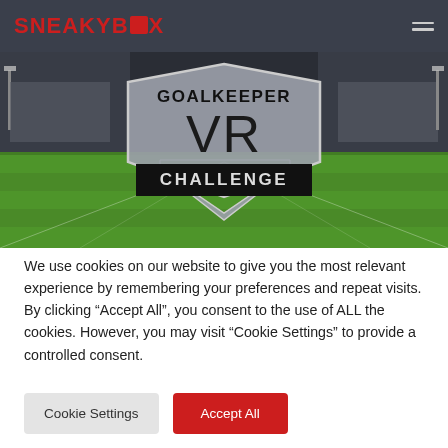SNEAKYBOX
[Figure (screenshot): Goalkeeper VR Challenge game logo over a football stadium background with green pitch. The logo shows a shield design with 'GOALKEEPER' at top, large 'VR' letters in the middle, and 'CHALLENGE' in a black banner at the bottom.]
We use cookies on our website to give you the most relevant experience by remembering your preferences and repeat visits. By clicking “Accept All”, you consent to the use of ALL the cookies. However, you may visit “Cookie Settings” to provide a controlled consent.
Cookie Settings
Accept All